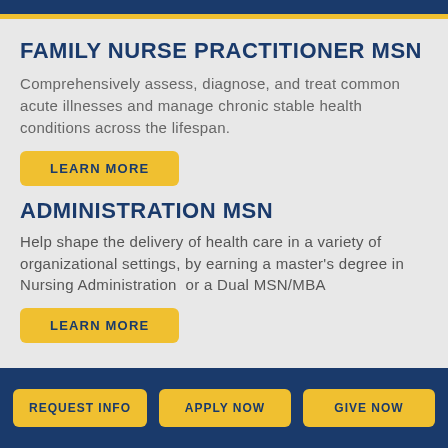FAMILY NURSE PRACTITIONER MSN
Comprehensively assess, diagnose, and treat common acute illnesses and manage chronic stable health conditions across the lifespan.
LEARN MORE
ADMINISTRATION MSN
Help shape the delivery of health care in a variety of organizational settings, by earning a master's degree in Nursing Administration or a Dual MSN/MBA
LEARN MORE
REQUEST INFO  APPLY NOW  GIVE NOW